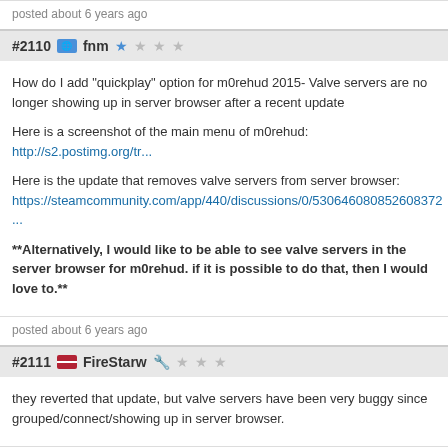posted about 6 years ago
#2110 fnm
How do I add "quickplay" option for m0rehud 2015- Valve servers are no longer showing up in server browser after a recent update
Here is a screenshot of the main menu of m0rehud: http://s2.postimg.org/tr...
Here is the update that removes valve servers from server browser: https://steamcommunity.com/app/440/discussions/0/530646080852608372...
**Alternatively, I would like to be able to see valve servers in the server browser for m0rehud. if it is possible to do that, then I would love to.**
posted about 6 years ago
#2111 FireStarw
they reverted that update, but valve servers have been very buggy since grouped/connect/showing up in server browser.
posted about 6 years ago
#2112 fnm
FireStarw